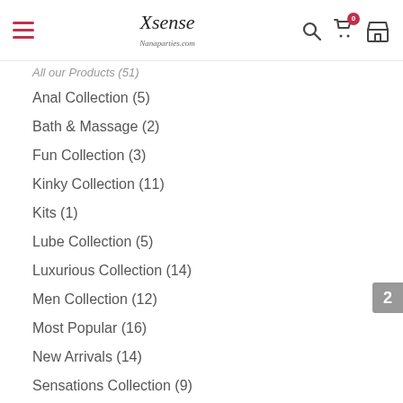Xsense / Nanaparties.com — navigation header with hamburger menu, logo, search icon, cart icon, store icon
All our Products (51)
Anal Collection (5)
Bath & Massage (2)
Fun Collection (3)
Kinky Collection (11)
Kits (1)
Lube Collection (5)
Luxurious Collection (14)
Men Collection (12)
Most Popular (16)
New Arrivals (14)
Sensations Collection (9)